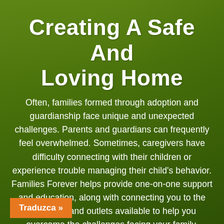[Figure (photo): Green-tinted background with a blurred photo of a person, overlaid with semi-transparent green wash]
Creating A Safe And Loving Home
Often, families formed through adoption and guardianship face unique and unexpected challenges. Parents and guardians can frequently feel overwhelmed. Sometimes, caregivers have difficulty connecting with their children or experience trouble managing their child's behavior. Families Forever helps provide one-on-one support and education, along with connecting you to the resources and outlets available to help you overcome the challenges facing your family. you can work to enhance and
Traduzca »